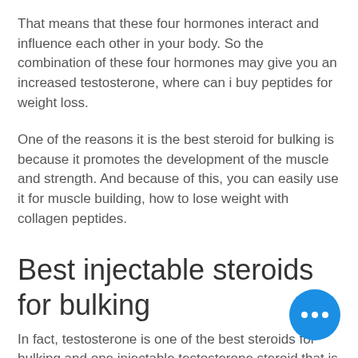That means that these four hormones interact and influence each other in your body. So the combination of these four hormones may give you an increased testosterone, where can i buy peptides for weight loss.
One of the reasons it is the best steroid for bulking is because it promotes the development of the muscle and strength. And because of this, you can easily use it for muscle building, how to lose weight with collagen peptides.
Best injectable steroids for bulking
In fact, testosterone is one of the best steroids for bulking and one injectable testosterone steroid that is commonly used